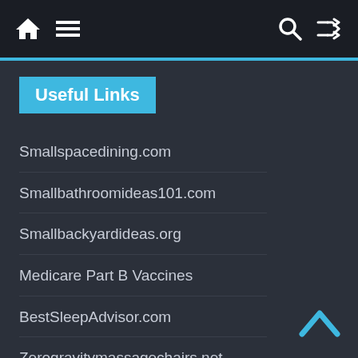Navigation bar with home, menu, search, and shuffle icons
Useful Links
Smallspacedining.com
Smallbathroomideas101.com
Smallbackyardideas.org
Medicare Part B Vaccines
BestSleepAdvisor.com
Zerogravitymassagechairs.net